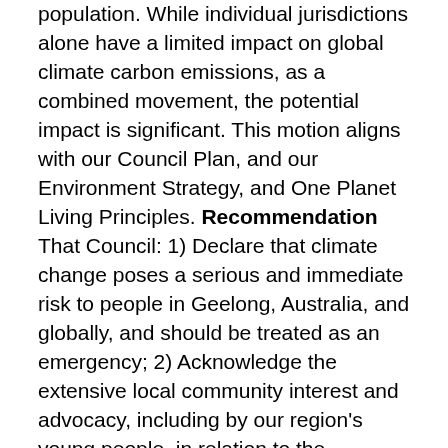population. While individual jurisdictions alone have a limited impact on global climate carbon emissions, as a combined movement, the potential impact is significant. This motion aligns with our Council Plan, and our Environment Strategy, and One Planet Living Principles. Recommendation That Council: 1) Declare that climate change poses a serious and immediate risk to people in Geelong, Australia, and globally, and should be treated as an emergency; 2) Acknowledge the extensive local community interest and advocacy, including by our region's young people, in relation to the declaration of a Climate Emergency; 3) Note and supports the successful motion to the Municipal Association of Victoria (MAV) May 2017 to recognise that we are in a state of 'climate emergency' that requires urgent action by all levels of government, including local Councils; 4) Note that the City of Greater Geelong, has had a strong record of reducing emissions, restoring and conserving biodiversity, and ensuring opportunities for the